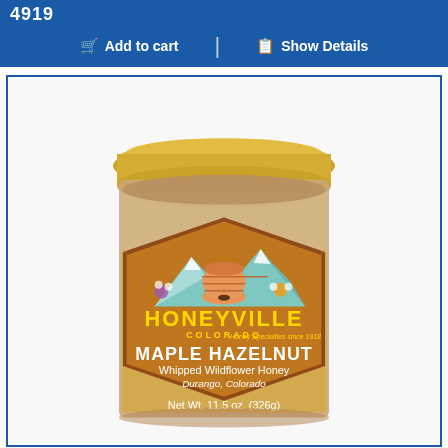4919
Add to cart | Show Details
[Figure (photo): A jar of Honeyville Colorado Maple Hazelnut Whipped Wildflower Honey, Durango, Colorado. Net Wt. 11.5 oz. (326g). The jar has a gold lid and a decorative label featuring a beehive, mountains, and wildflowers.]